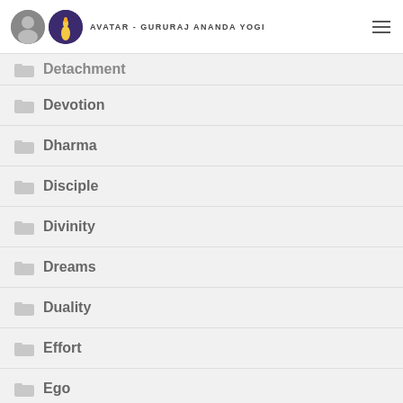AVATAR - GURURAJ ANANDA YOGI
Detachment
Devotion
Dharma
Disciple
Divinity
Dreams
Duality
Effort
Ego
Enlightenment